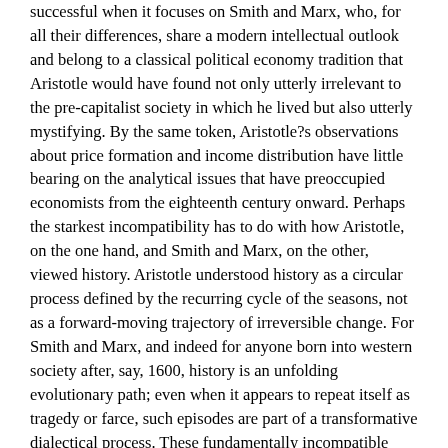successful when it focuses on Smith and Marx, who, for all their differences, share a modern intellectual outlook and belong to a classical political economy tradition that Aristotle would have found not only utterly irrelevant to the pre-capitalist society in which he lived but also utterly mystifying. By the same token, Aristotle?s observations about price formation and income distribution have little bearing on the analytical issues that have preoccupied economists from the eighteenth century onward. Perhaps the starkest incompatibility has to do with how Aristotle, on the one hand, and Smith and Marx, on the other, viewed history. Aristotle understood history as a circular process defined by the recurring cycle of the seasons, not as a forward-moving trajectory of irreversible change. For Smith and Marx, and indeed for anyone born into western society after, say, 1600, history is an unfolding evolutionary path; even when it appears to repeat itself as tragedy or farce, such episodes are part of a transformative dialectical process. These fundamentally incompatible conceptions of history circumscribe what Aristotle and moderns have to say to one another across the centuries.
Pack speculates that this shift in the conception of history might be explained by the ?realization [in the modern era] that animal species are not eternal. Species may … become extinct; this suggests that new ones may arise.? It seems to me more likely, though, that the capitalist mode of production, which upended and radically